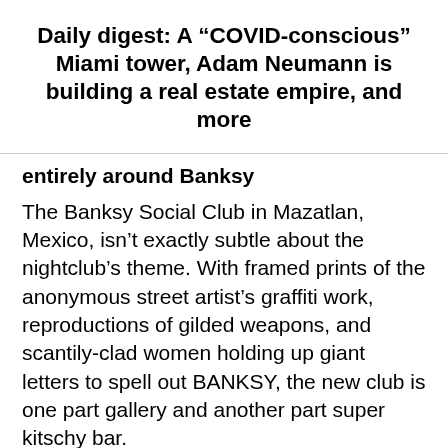Daily digest: A “COVID-conscious” Miami tower, Adam Neumann is building a real estate empire, and more
entirely around Banksy
The Banksy Social Club in Mazatlan, Mexico, isn’t exactly subtle about the nightclub’s theme. With framed prints of the anonymous street artist’s graffiti work, reproductions of gilded weapons, and scantily-clad women holding up giant letters to spell out BANKSY, the new club is one part gallery and another part super kitschy bar.
H/t to The Art Newspaper